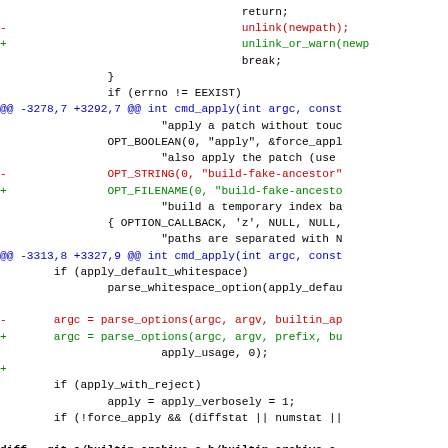[Figure (screenshot): A git diff output showing code changes in C source files, with removed lines in red, added lines in green, hunk headers in blue, and context lines in black. Shows changes to builtin-apply.c and beginning of diff for builtin-archive.c.]